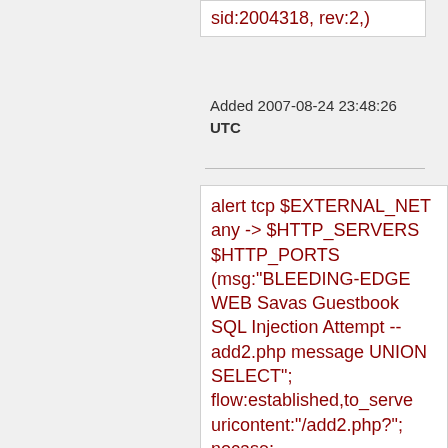sid:2004318, rev:2,)
Added 2007-08-24 23:48:26 UTC
alert tcp $EXTERNAL_NET any -> $HTTP_SERVERS $HTTP_PORTS (msg:"BLEEDING-EDGE WEB Savas Guestbook SQL Injection Attempt -- add2.php message UNION SELECT"; flow:established,to_server; uricontent:"/add2.php?"; nocase; uricontent:"message=";